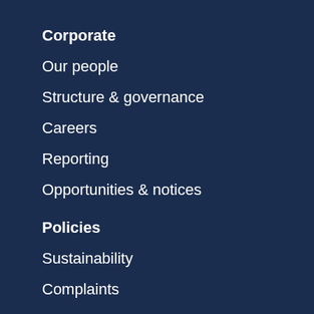Corporate
Our people
Structure & governance
Careers
Reporting
Opportunities & notices
Policies
Sustainability
Complaints
Health & safety